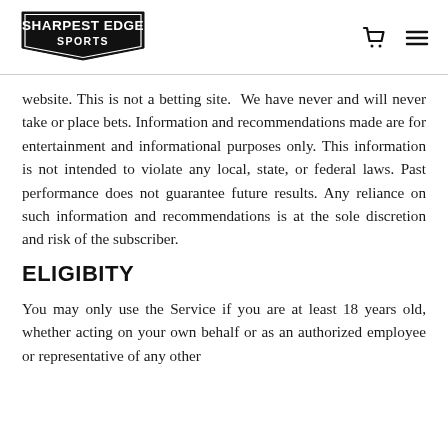[Figure (logo): Sharpest Edge Sports logo — black shield/banner shape with white bold text reading 'SHARPEST EDGE SPORTS']
website. This is not a betting site.  We have never and will never take or place bets. Information and recommendations made are for entertainment and informational purposes only. This information is not intended to violate any local, state, or federal laws. Past performance does not guarantee future results. Any reliance on such information and recommendations is at the sole discretion and risk of the subscriber.
ELIGIBITY
You may only use the Service if you are at least 18 years old, whether acting on your own behalf or as an authorized employee or representative of any other